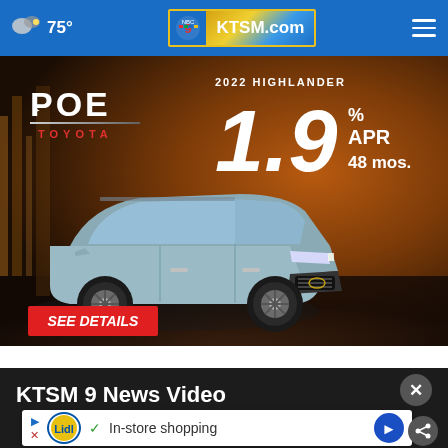☁ 75°   KTSM.com
[Figure (photo): Poe Toyota advertisement showing a 2022 Toyota Highlander SUV with 1.9% APR for 48 months offer, with a 'SEE DETAILS' red button, on a dark warm background.]
KTSM 9 News Video
[Figure (screenshot): Bottom ad banner showing Lidl logo with 'In-store shopping' text and navigation arrow icons, on a white bar within a dark background section.]